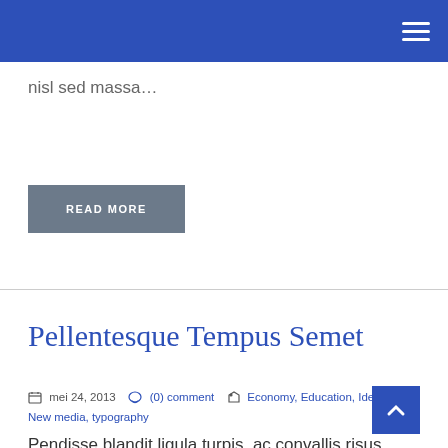nisl sed massa…
READ MORE
Pellentesque Tempus Semet
mei 24, 2013  (0) comment  Economy, Education, Identity, New media, typography
Pendisse blandit ligula turpis, ac convallis risus fermentum non. Duis vestibulum quis quam vel